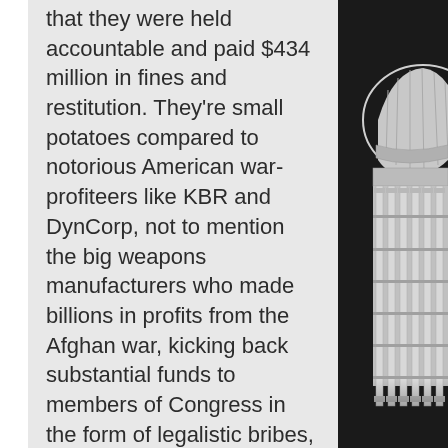that they were held accountable and paid $434 million in fines and restitution. They're small potatoes compared to notorious American war-profiteers like KBR and DynCorp, not to mention the big weapons manufacturers who made billions in profits from the Afghan war, kicking back substantial funds to members of Congress in the form of legalistic bribes, made "legal" by legislation passed by... Congress.
Last cycle there were half a dozen weapons companies that spent over $2 million in bribes to Congress, Lockhead Martin, Raytheon, Northrop Grumman, General Dynamics, L3Harris Technologies and General Atomics
[Figure (photo): Black and white photograph of the United States Capitol building dome and columns, visible on the right side of the page against a dark background]